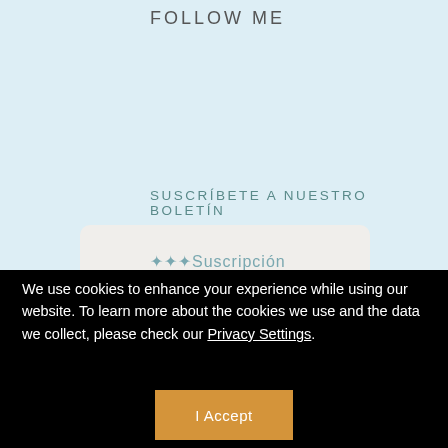FOLLOW ME
SUSCRÍBETE A NUESTRO BOLETÍN
[Figure (screenshot): Email subscription input box with light beige background and rounded corners, partially showing teal placeholder text]
We use cookies to enhance your experience while using our website. To learn more about the cookies we use and the data we collect, please check our Privacy Settings.
I Accept